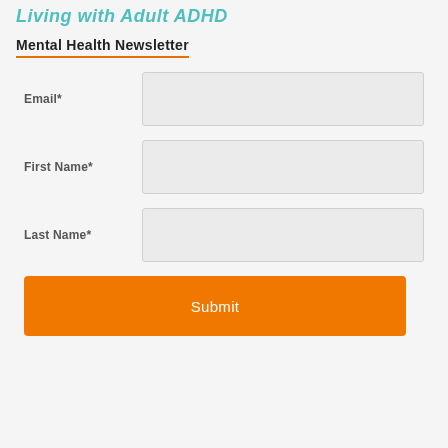Living with Adult ADHD
Mental Health Newsletter
Email*
First Name*
Last Name*
Submit